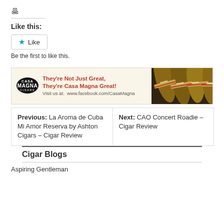[Figure (other): Print icon (small printer symbol)]
Like this:
[Figure (other): Like button with blue star and 'Like' text, bordered button widget]
Be the first to like this.
[Figure (other): Casa Magna Cigars advertisement banner. Logo on left with text: They're Not Just Great, They're Casa Magna Great! Visit us at: www.facebook.com/CasaMagna. Right side shows photo of cigars with Casa Magna labels.]
| Previous | Next |
| --- | --- |
| La Aroma de Cuba Mi Amor Reserva by Ashton Cigars – Cigar Review | CAO Concert Roadie – Cigar Review |
Cigar Blogs
Aspiring Gentleman